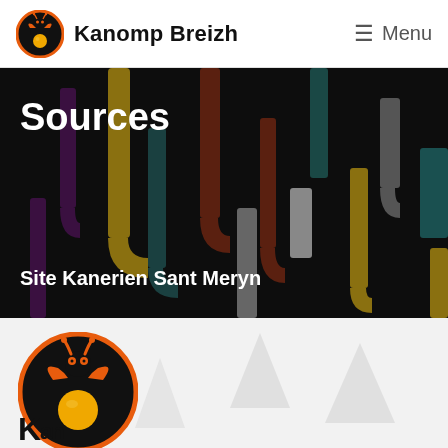Kanomp Breizh  ≡ Menu
Sources
Site Kanerien Sant Meryn
[Figure (logo): Kanomp Breizh logo — black circle with orange bird/figure and yellow circle, repeated large in lower section with brand name 'kanomp Breizh']
kanomp Breizh
Kan...